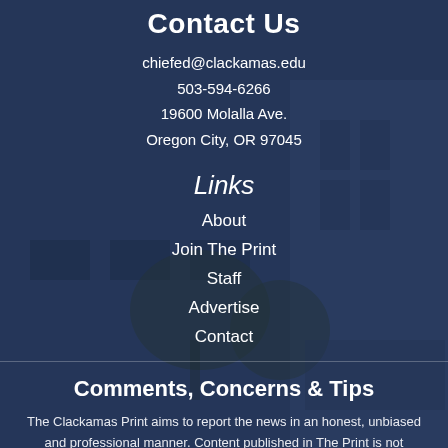Contact Us
chiefed@clackamas.edu
503-594-6266
19600 Molalla Ave.
Oregon City, OR 97045
Links
About
Join The Print
Staff
Advertise
Contact
Comments, Concerns & Tips
The Clackamas Print aims to report the news in an honest, unbiased and professional manner. Content published in The Print is not screened or subject to censorship. We welcome tips, comments